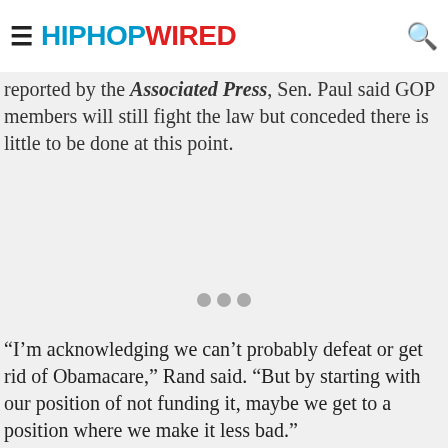HIPHOPWIRED
reported by the Associated Press, Sen. Paul said GOP members will still fight the law but conceded there is little to be done at this point.
[Figure (other): Advertisement loading indicator with three grey dots]
“I’m acknowledging we can’t probably defeat or get rid of Obamacare,” Rand said. “But by starting with our position of not funding it, maybe we get to a position where we make it less bad.”